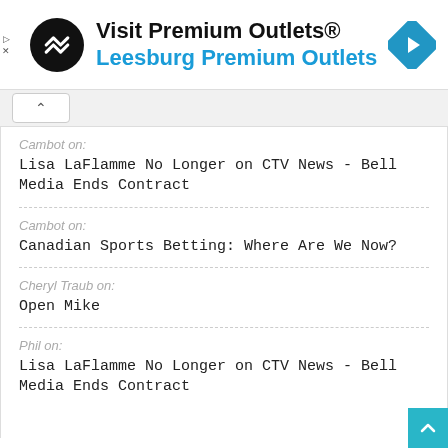[Figure (advertisement): Visit Premium Outlets® ad banner with logo and Leesburg Premium Outlets text]
Cambot on:
Lisa LaFlamme No Longer on CTV News - Bell Media Ends Contract
Cambot on:
Canadian Sports Betting: Where Are We Now?
Cheryl Traub on:
Open Mike
Phil on:
Lisa LaFlamme No Longer on CTV News - Bell Media Ends Contract